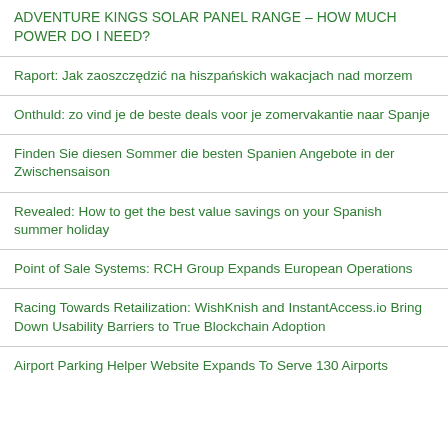ADVENTURE KINGS SOLAR PANEL RANGE – HOW MUCH POWER DO I NEED?
Raport: Jak zaoszczędzić na hiszpańskich wakacjach nad morzem
Onthuld: zo vind je de beste deals voor je zomervakantie naar Spanje
Finden Sie diesen Sommer die besten Spanien Angebote in der Zwischensaison
Revealed: How to get the best value savings on your Spanish summer holiday
Point of Sale Systems: RCH Group Expands European Operations
Racing Towards Retailization: WishKnish and InstantAccess.io Bring Down Usability Barriers to True Blockchain Adoption
Airport Parking Helper Website Expands To Serve 130 Airports